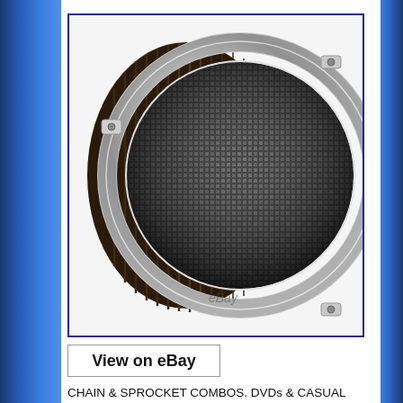[Figure (photo): Cobra Motorcycle Air Cleaner Kit with chrome ring and mesh screen face, viewed from front-right angle, with black pleated filter visible around the sides. eBay watermark visible at bottom.]
View on eBay
CHAIN & SPROCKET COMBOS. DVDs & CASUAL APPAREL. Cobra Motorcycle Air Cleaner Kit For 18-